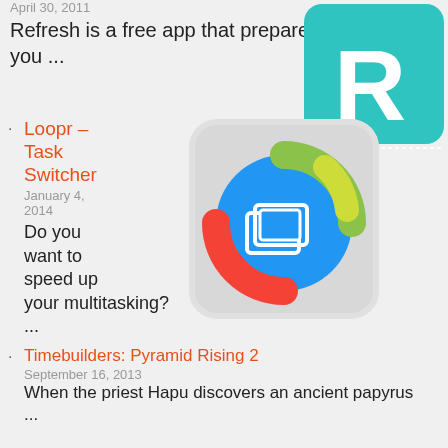April 30, 2011
Refresh is a free app that prepares you ...
[Figure (logo): Refresh app icon - teal speech bubble with white R letter]
Loopr – Task Switcher
January 4, 2014
Do you want to speed up your multitasking? ...
[Figure (illustration): Loopr Task Switcher app icon - colorful circular arrow with screen switcher icon on white rounded square background]
Timebuilders: Pyramid Rising 2
September 16, 2013
When the priest Hapu discovers an ancient papyrus ...
Insta Effects FX
March 12, 2013
Insta Effects Fx  is the easiest way to ...
Spell Gate Tower Defense
February 19, 2016
Your goblin enemies are at the ...
[Figure (screenshot): Spell Gate Tower Defense game screenshot showing a dragon character]